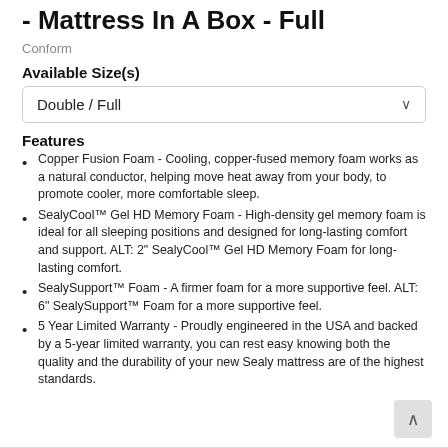- Mattress In A Box - Full
Conform
Available Size(s)
Double / Full
Features
Copper Fusion Foam - Cooling, copper-fused memory foam works as a natural conductor, helping move heat away from your body, to promote cooler, more comfortable sleep.
SealyCool™ Gel HD Memory Foam - High-density gel memory foam is ideal for all sleeping positions and designed for long-lasting comfort and support. ALT: 2" SealyCool™ Gel HD Memory Foam for long-lasting comfort.
SealySupport™ Foam - A firmer foam for a more supportive feel. ALT: 6" SealySupport™ Foam for a more supportive feel.
5 Year Limited Warranty - Proudly engineered in the USA and backed by a 5-year limited warranty, you can rest easy knowing both the quality and the durability of your new Sealy mattress are of the highest standards.